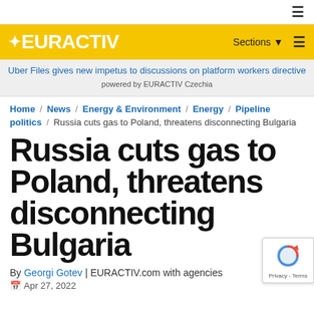≡ (hamburger menu icon)
[Figure (logo): EURACTIV logo in white text on yellow background bar with Sections menu and hamburger icon]
Uber Files gives new impetus to discussions on platform workers directive powered by EURACTIV Czechia
Home / News / Energy & Environment / Energy / Pipeline politics / Russia cuts gas to Poland, threatens disconnecting Bulgaria
Russia cuts gas to Poland, threatens disconnecting Bulgaria
By Georgi Gotev | EURACTIV.com with agencies
Apr 27, 2022